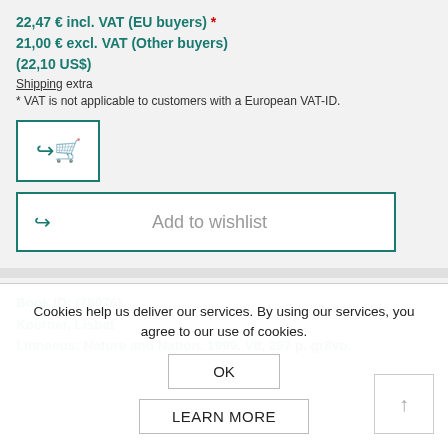22,47 € incl. VAT (EU buyers) *
21,00 € excl. VAT (Other buyers)
(22,10 US$)
Shipping extra
* VAT is not applicable to customers with a European VAT-ID.
[Figure (other): Add to cart button with share and cart icons, teal border]
[Figure (other): Add to wishlist button with share arrow icon, teal border]
Book ID: (78076)
Koerner, Lisbet
Linnaeus: Nature and Nation. 1999. VII, 297 p. gr8vo.
Cookies help us deliver our services. By using our services, you agree to our use of cookies.
OK
LEARN MORE